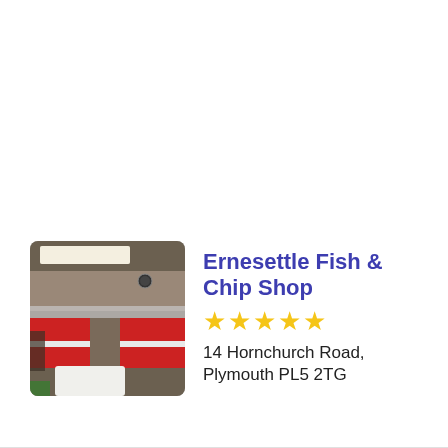[Figure (photo): Interior photo of Ernesettle Fish & Chip Shop showing red booth seating, counter area with glass display, fluorescent ceiling lights, and a white table in the foreground.]
Ernesettle Fish & Chip Shop
★★★★★
14 Hornchurch Road, Plymouth PL5 2TG